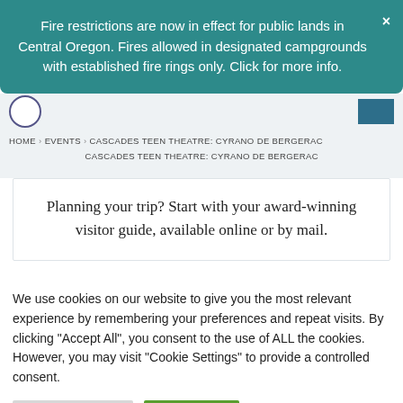Fire restrictions are now in effect for public lands in Central Oregon. Fires allowed in designated campgrounds with established fire rings only. Click for more info.
HOME › EVENTS › CASCADES TEEN THEATRE: CYRANO DE BERGERAC › CASCADES TEEN THEATRE: CYRANO DE BERGERAC
Planning your trip? Start with your award-winning visitor guide, available online or by mail.
We use cookies on our website to give you the most relevant experience by remembering your preferences and repeat visits. By clicking "Accept All", you consent to the use of ALL the cookies. However, you may visit "Cookie Settings" to provide a controlled consent.